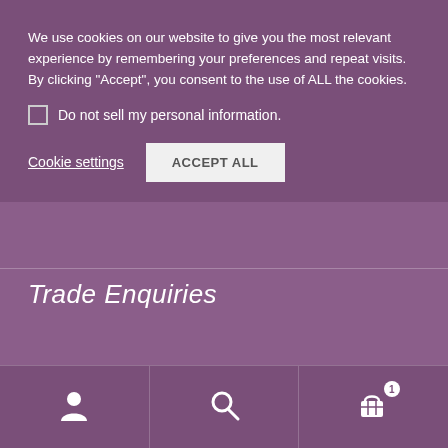We use cookies on our website to give you the most relevant experience by remembering your preferences and repeat visits. By clicking “Accept”, you consent to the use of ALL the cookies.
Do not sell my personal information.
Cookie settings  ACCEPT ALL
Trade Enquiries
Interested in becoming a stockist of Downland Stamps? Click here for information on how to become a retailer of our photopolymer stamps, together with a trade account application form.